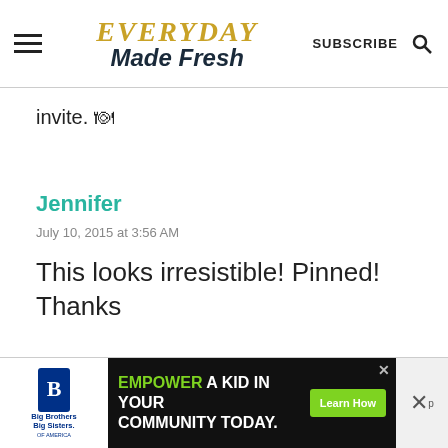EVERYDAY Made Fresh — SUBSCRIBE
invite. 🍽
Jennifer
July 10, 2015 at 3:56 AM
This looks irresistible! Pinned! Thanks
[Figure (screenshot): Advertisement banner: Big Brothers Big Sisters logo on left, center dark background with 'EMPOWER A KID IN YOUR COMMUNITY TODAY.' text and green 'Learn How' button, close X button on right]